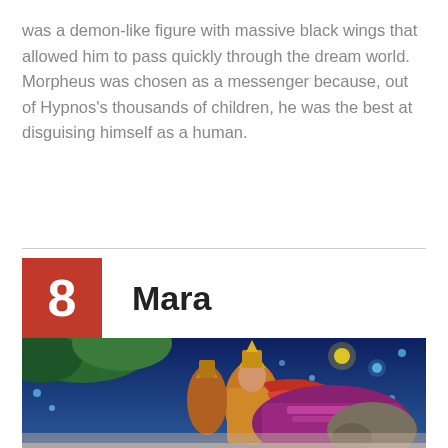was a demon-like figure with massive black wings that allowed him to pass quickly through the dream world. Morpheus was chosen as a messenger because, out of Hypnos's thousands of children, he was the best at disguising himself as a human.
8 Mara
[Figure (illustration): Colorful fantasy illustration depicting mythological figures in ornate traditional Southeast Asian/Buddhist style costume, with golden headdresses, set against a night sky with glowing orbs and lush green foliage.]